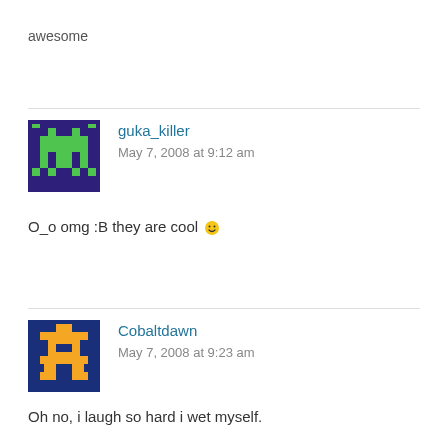awesome
[Figure (illustration): Pixel-art avatar for guka_killer: green space-invader style figure on dark purple background]
guka_killer
May 7, 2008 at 9:12 am
O_o omg :B they are cool 🙂
[Figure (illustration): Pixel-art avatar for Cobaltdawn: orange cross/robot figure on dark blue background]
Cobaltdawn
May 7, 2008 at 9:23 am
Oh no, i laugh so hard i wet myself.